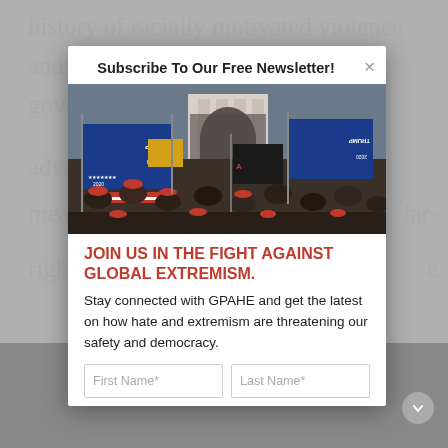history of racially motivated violence and antigovernment activity, yet our government has failed to advance means far-right e
[Figure (screenshot): Newsletter subscription modal popup overlay on a webpage. Modal contains title 'Subscribe To Our Free Newsletter!', a photo of a crowd at the US Capitol with Trump 2020 flags and banners, a red bold headline 'JOIN US IN THE FIGHT AGAINST GLOBAL EXTREMISM.', descriptive text, and form fields for First Name and Last Name.]
Subscribe To Our Free Newsletter!
[Figure (photo): Crowd of people gathered at what appears to be the US Capitol building, holding Trump 2020 flags and various banners. Large blue Trump flags visible with inverted text, American flags, and densely packed crowd in front of a white columned building.]
JOIN US IN THE FIGHT AGAINST GLOBAL EXTREMISM.
Stay connected with GPAHE and get the latest on how hate and extremism are threatening our safety and democracy.
First Name*
Last Name*